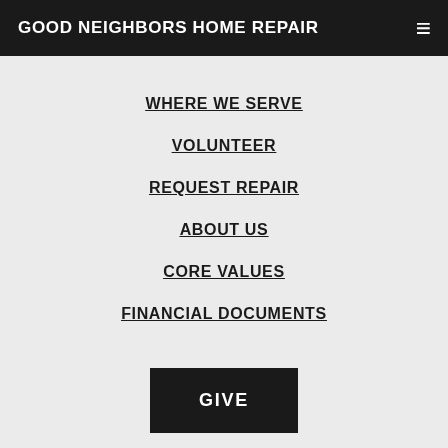GOOD NEIGHBORS HOME REPAIR
WHERE WE SERVE
VOLUNTEER
REQUEST REPAIR
ABOUT US
CORE VALUES
FINANCIAL DOCUMENTS
GIVE
Terms of Use   Privacy Policy
© 2022 ALL RIGHTS RESERVED